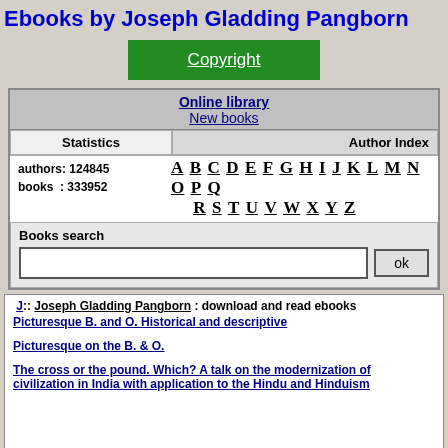Ebooks by Joseph Gladding Pangborn
Copyright
Online library
New books
| Statistics | Author Index |
| --- | --- |
| authors: 124845
books : 333952 | A B C D E F G H I J K L M N O P Q
R S T U V W X Y Z |
Books search
J:: Joseph Gladding Pangborn : download and read ebooks
Picturesque B. and O. Historical and descriptive
Picturesque on the B. & O.
The cross or the pound. Which? A talk on the modernization of civilization in India with application to the Hindu and Hinduism